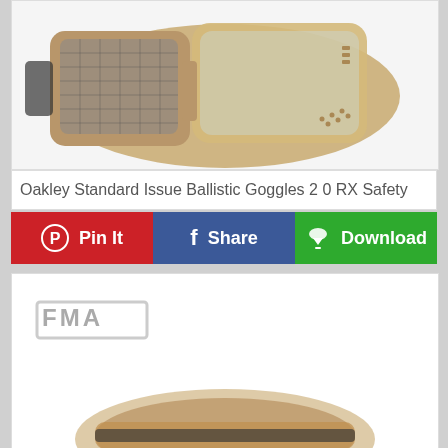[Figure (photo): Oakley tactical ballistic goggles in tan/desert color with mesh lens insert, shown from a side/rear angle on white background]
Oakley Standard Issue Ballistic Goggles 2 0 RX Safety
Pin It
Share
Download
[Figure (photo): FMA branded tactical goggles/mask product shown partially at bottom of frame, tan/coyote color with FMA logo at top left, on white background]